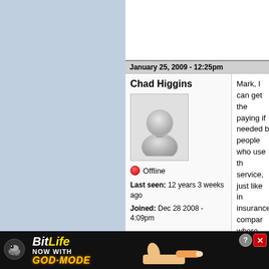January 25, 2009 - 12:25pm
Chad Higgins
[Figure (illustration): Generic user avatar icon - grey silhouette of a person]
Offline
Last seen: 12 years 3 weeks ago
Joined: Dec 28 2008 - 4:09pm
Mark, I can get the paying if needed b people who use th service, just like in insurance compar where the city can and not being com
January 25, 2009 - 12:36pm
Chad Higgins
Mr. Mallow, I was j about. It was brou we have to provid to offer the o her citizens e has been
[Figure (illustration): BitLife advertisement banner - NOW WITH GOD MODE]